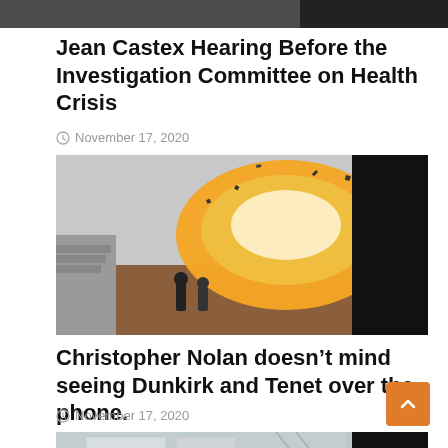[Figure (photo): Top portion of an image, partially cropped at the top of the page]
Jean Castex Hearing Before the Investigation Committee on Health Crisis
November 17, 2020
[Figure (photo): Explosion scene from a film, showing a building with a large fireball and debris, two figures running in the foreground; right portion blacked out]
Christopher Nolan doesn’t mind seeing Dunkirk and Tenet over the phone.
November 17, 2020
[Figure (photo): Interior of a shopping mall with escalators and storefronts; right portion blacked out]